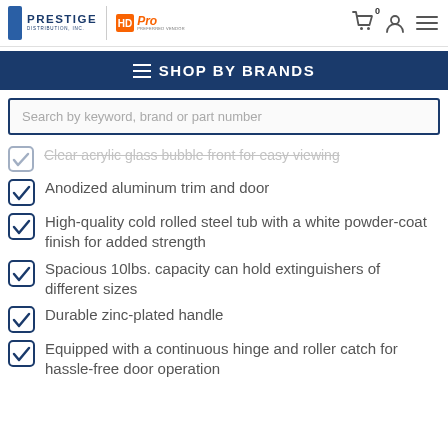Prestige Distribution, Inc. | Home Depot Pro Preferred Vendor
SHOP BY BRANDS
Search by keyword, brand or part number
Clear acrylic glass bubble front for easy viewing
Anodized aluminum trim and door
High-quality cold rolled steel tub with a white powder-coat finish for added strength
Spacious 10lbs. capacity can hold extinguishers of different sizes
Durable zinc-plated handle
Equipped with a continuous hinge and roller catch for hassle-free door operation